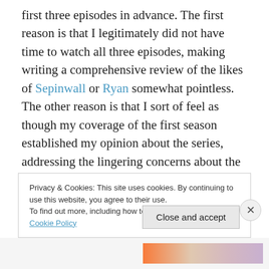first three episodes in advance. The first reason is that I legitimately did not have time to watch all three episodes, making writing a comprehensive review of the likes of Sepinwall or Ryan somewhat pointless. The other reason is that I sort of feel as though my coverage of the first season established my opinion about the series, addressing the lingering concerns about the procedural structure and embracing the series' complex conclusion. Considering that my opinion on those efforts is entirely unchanged based on "The Moonshine War," to repeat it would be redundant.
Privacy & Cookies: This site uses cookies. By continuing to use this website, you agree to their use. To find out more, including how to control cookies, see here: Cookie Policy
Close and accept